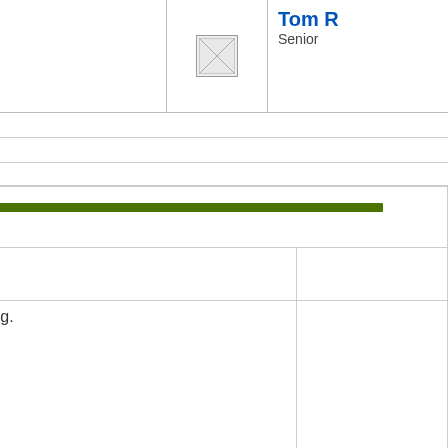Tom [name truncated]
Senior [role truncated]
Recent Editors' Reviews
Avast Free Antivirus 2016
The 2016 version of Avast Free Antivirus adds a password manager with cloud syncing.
Start10
The Windows 8 Start menu replacement is back for Windows 10.
ESET Smart Security
The software's core protection is great, but